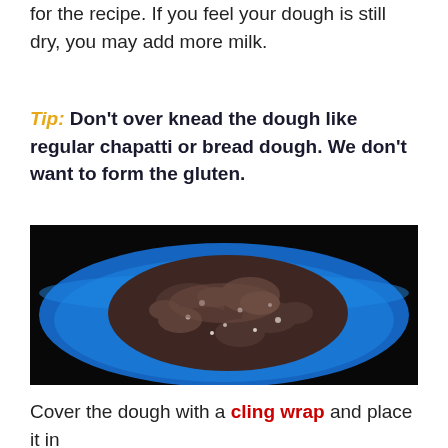for the recipe. If you feel your dough is still dry, you may add more milk.
Tip: Don't over knead the dough like regular chapatti or bread dough. We don't want to form the gluten.
[Figure (photo): A blue bowl containing crumbly dark brown dough mixture with visible grain and seed pieces, photographed from above on a dark background.]
Cover the dough with a cling wrap and place it in